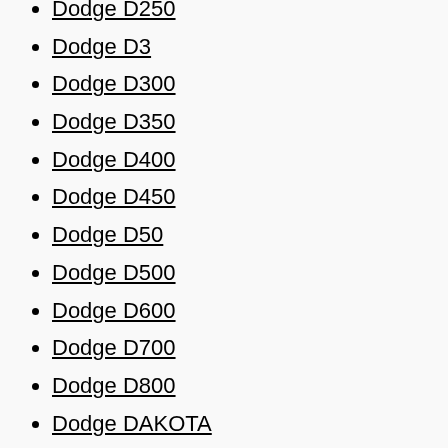Dodge D250
Dodge D3
Dodge D300
Dodge D350
Dodge D400
Dodge D450
Dodge D50
Dodge D500
Dodge D600
Dodge D700
Dodge D800
Dodge DAKOTA
Dodge DART
Dodge DAYTONA